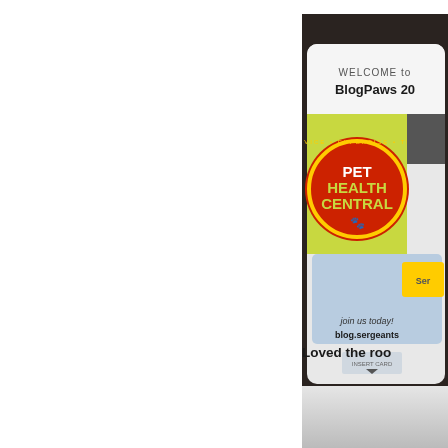[Figure (photo): A photo of a BlogPaws 2013 welcome badge/card featuring a 'Pet Health Central' logo (red circular badge with yellow text and a paw print), text reading 'WELCOME to BlogPaws 20...' at the top, 'join us today! blog.sergeants...' at the bottom, and a yellow 'Ser...' label, placed on a dark wooden surface.]
Loved the roo...
[Figure (photo): Partially visible photo at the bottom right, showing a light gray/white blurry background, appears to be a room interior.]